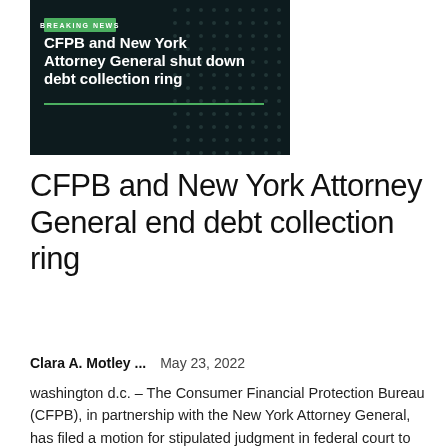[Figure (screenshot): Dark breaking news card with green 'BREAKING NEWS' label and white text: 'CFPB and New York Attorney General shut down debt collection ring', dark background with dot pattern]
CFPB and New York Attorney General end debt collection ring
Clara A. Motley ...    May 23, 2022
washington d.c. – The Consumer Financial Protection Bureau (CFPB), in partnership with the New York Attorney General, has filed a motion for stipulated judgment in federal court to settle its case against a debt collection...